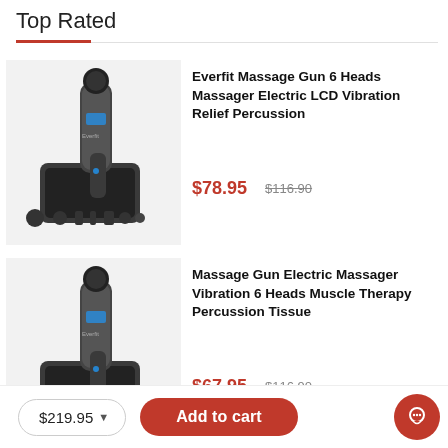Top Rated
[Figure (photo): Massage gun product image with 6 heads/attachments and carrying case - Everfit brand]
Everfit Massage Gun 6 Heads Massager Electric LCD Vibration Relief Percussion
$78.95  $116.90
[Figure (photo): Massage gun product image with 6 heads/attachments and carrying case - second product]
Massage Gun Electric Massager Vibration 6 Heads Muscle Therapy Percussion Tissue
$67.95  $116.90
[Figure (photo): Partial product image - Rechargeable Electric Deep Muscle Tissue Massage Gun]
Rechargeable Electric Deep Muscle Tissue Massage G...
$219.95
Add to cart